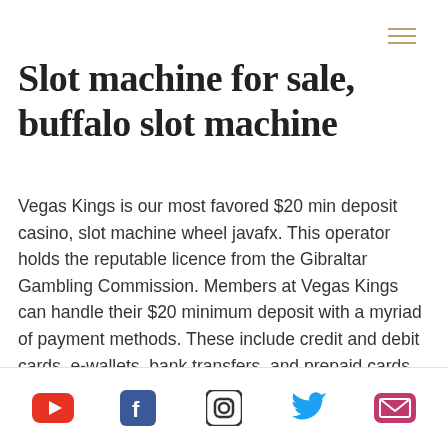Slot machine for sale, buffalo slot machine
Vegas Kings is our most favored $20 min deposit casino, slot machine wheel javafx. This operator holds the reputable licence from the Gibraltar Gambling Commission. Members at Vegas Kings can handle their $20 minimum deposit with a myriad of payment methods. These include credit and debit cards, e-wallets, bank transfers, and prepaid cards. The most popular payment providers include Visa, Neteller, Trustly, and Paysafe. The website is in English, Finnish, German, Norwegian, Swedish languages and customer support provided 24/7 via Email, Phone...
Social media icons: YouTube, Facebook, Instagram, Twitter, Email